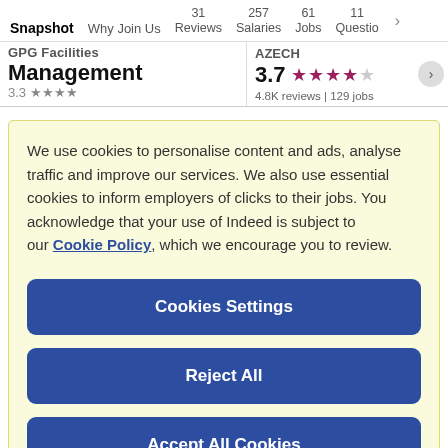Snapshot  Why Join Us  31 Reviews  257 Salaries  61 Jobs  11 Questio >
GPG Facilities Management  3.7 ★★★★☆  4.8K reviews | 129 jobs
We use cookies to personalise content and ads, analyse traffic and improve our services. We also use essential cookies to inform employers of clicks to their jobs. You acknowledge that your use of Indeed is subject to our Cookie Policy, which we encourage you to review.
Cookies Settings
Reject All
Accept All Cookies